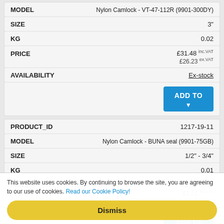| Field | Value |
| --- | --- |
| MODEL | Nylon Camlock - VT-47-112R (9901-300DY) |
| SIZE | 3" |
| KG | 0.02 |
| PRICE | £31.48 inc.VAT / £26.23 ex.VAT |
| AVAILABILITY | Ex-stock |
| Field | Value |
| --- | --- |
| PRODUCT_ID | 1217-19-11 |
| MODEL | Nylon Camlock - BUNA seal (9901-75GB) |
| SIZE | 1/2" - 3/4" |
| KG | 0.01 |
| PRICE | £1.45 inc.VAT / £1.21 ex.VAT |
| AVAILABILITY | Ex-stock |
This website uses cookies. By continuing to browse the site, you are agreeing to our use of cookies. Read our Cookie Policy!
Dismiss